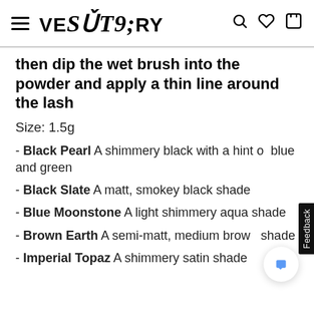VESTRY
then dip the wet brush into the powder and apply a thin line around the lash
Size: 1.5g
- Black Pearl A shimmery black with a hint of blue and green
- Black Slate A matt, smokey black shade
- Blue Moonstone A light shimmery aqua shade
- Brown Earth A semi-matt, medium brown shade
- Imperial Topaz A shimmery satin shade